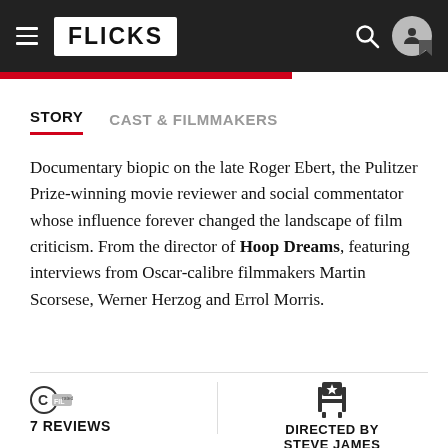FLICKS
STORY  CAST & FILMMAKERS
Documentary biopic on the late Roger Ebert, the Pulitzer Prize-winning movie reviewer and social commentator whose influence forever changed the landscape of film criticism. From the director of Hoop Dreams, featuring interviews from Oscar-calibre filmmakers Martin Scorsese, Werner Herzog and Errol Morris.
7 REVIEWS
DIRECTED BY STEVE JAMES